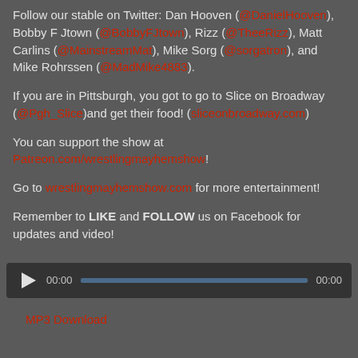Follow our stable on Twitter: Dan Hooven (@DanielHooven), Bobby F Jtown (@BobbyFJtown), Rizz (@TheeRizz), Matt Carlins (@MainstreamMat), Mike Sorg (@sorgatron), and Mike Rohrssen (@MadMike4883).
If you are in Pittsburgh, you got to go to Slice on Broadway (@Pgh_Slice)and get their food! (sliceonbroadway.com)
You can support the show at Patreon.com/wrestlingmayhemshow!
Go to wrestlingmayhemshow.com for more entertainment!
Remember to LIKE and FOLLOW us on Facebook for updates and video!
[Figure (other): Audio player with play button, time display 00:00, progress bar, and end time 00:00]
MP3 Download